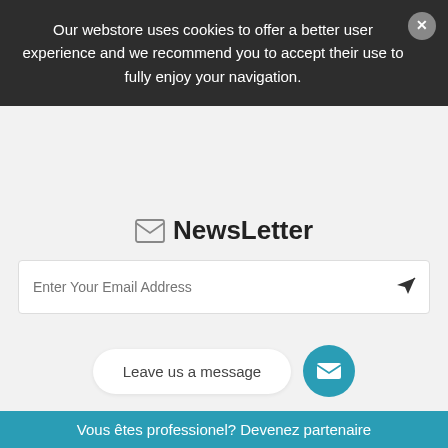Our webstore uses cookies to offer a better user experience and we recommend you to accept their use to fully enjoy your navigation.
NewsLetter
Enter Your Email Address
Products
Desineo ® since 2008
Our Company
Store Information
Leave us a message
Vous êtes professionel? Devenez partenaire